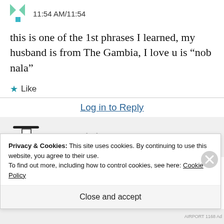11:54 AM/11:54
this is one of the 1st phrases I learned, my husband is from The Gambia, I love u is “nob nala”
★ Like
Log in to Reply
Jangalekat
Privacy & Cookies: This site uses cookies. By continuing to use this website, you agree to their use.
To find out more, including how to control cookies, see here: Cookie Policy
Close and accept